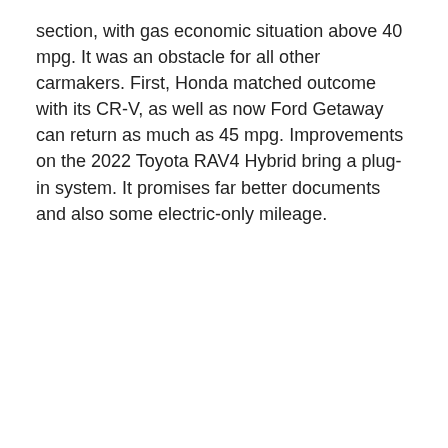section, with gas economic situation above 40 mpg. It was an obstacle for all other carmakers. First, Honda matched outcome with its CR-V, as well as now Ford Getaway can return as much as 45 mpg. Improvements on the 2022 Toyota RAV4 Hybrid bring a plug-in system. It promises far better documents and also some electric-only mileage.